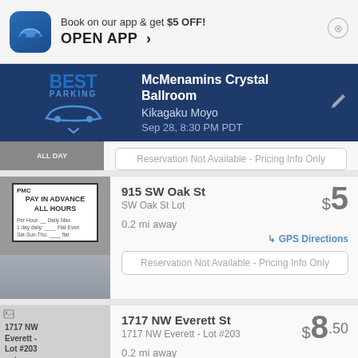Book on our app & get $5 OFF!
OPEN APP >
McMenamins Crystal Ballroom
Kikagaku Moyo
Sep 28, 8:30 PM PDT
[Figure (screenshot): Parking lot sign showing ALL DAY parking]
Reservation Not Available - Pricing Info Only
[Figure (photo): PMC Pay In Advance All Hours parking sign]
915 SW Oak St
SW Oak St Lot
0.2 mi away
$5
GPS Directions
Reservation Not Available - Pricing Info Only
[Figure (photo): 1717 NW Everett - Lot #203 entrance (broken image)]
1717 NW Everett St
1717 NW Everett - Lot #203
0.2 mi away
$8.50
GPS Directions
Reservation Not Available - Pricing Info Only